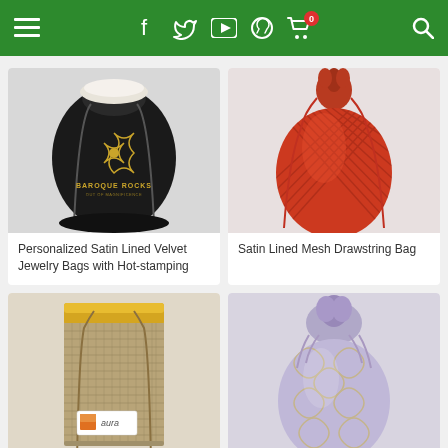Navigation bar with hamburger menu, Facebook, Twitter, YouTube, WhatsApp, cart (0), search icons
[Figure (photo): Black velvet drawstring jewelry bag with gold Baroque Rocks logo and hot-stamp branding]
Personalized Satin Lined Velvet Jewelry Bags with Hot-stamping
[Figure (photo): Red satin lined mesh drawstring bag]
Satin Lined Mesh Drawstring Bag
[Figure (photo): Burlap/jute drawstring bag with gold satin lining and Aura label]
[Figure (photo): Light purple/lavender silk brocade drawstring bag with gold pattern]